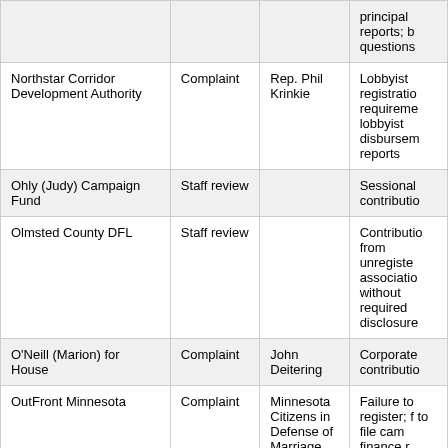| Entity | Type | Complainant | Issue |
| --- | --- | --- | --- |
|  |  |  | principal reports; b questions |
| Northstar Corridor Development Authority | Complaint | Rep. Phil Krinkie | Lobbyist registration requireme lobbyist disbursem reports |
| Ohly (Judy) Campaign Fund | Staff review |  | Sessional contributio |
| Olmsted County DFL | Staff review |  | Contributio from unregiste associatio without required disclosure |
| O'Neill (Marion) for House | Complaint | John Deitering | Corporate contributio |
| OutFront Minnesota | Complaint | Minnesota Citizens in Defense of Marriage | Failure to register; f to file cam finance r |